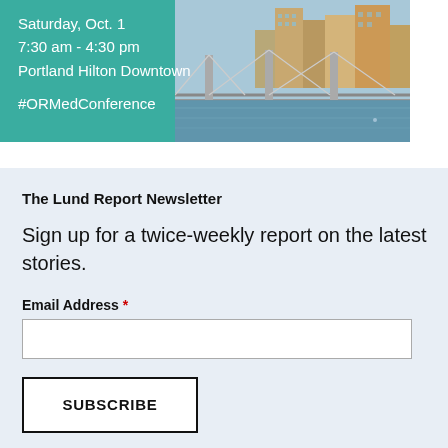[Figure (photo): Conference banner with teal background showing event details on the left and a photo of Portland city bridge/skyline on the right]
Saturday, Oct. 1
7:30 am - 4:30 pm
Portland Hilton Downtown

#ORMedConference
The Lund Report Newsletter
Sign up for a twice-weekly report on the latest stories.
Email Address *